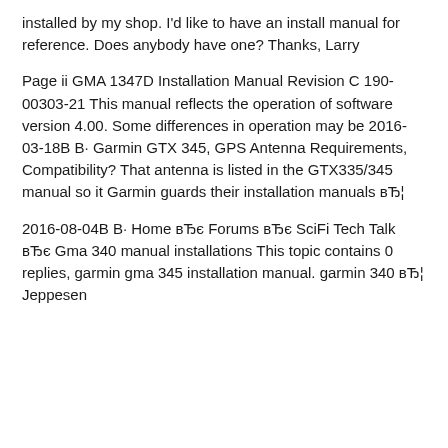installed by my shop. I'd like to have an install manual for reference. Does anybody have one? Thanks, Larry
Page ii GMA 1347D Installation Manual Revision C 190-00303-21 This manual reflects the operation of software version 4.00. Some differences in operation may be 2016-03-18В В· Garmin GTX 345, GPS Antenna Requirements, Compatibility? That antenna is listed in the GTX335/345 manual so it Garmin guards their installation manuals вЂ¦
2016-08-04В В· Home вЂє Forums вЂє SciFi Tech Talk вЂє Gma 340 manual installations This topic contains 0 replies, garmin gma 345 installation manual. garmin 340 вЂ¦ Jeppesen